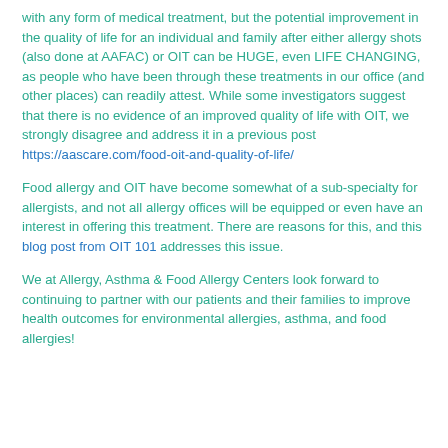with any form of medical treatment, but the potential improvement in the quality of life for an individual and family after either allergy shots (also done at AAFAC) or OIT can be HUGE, even LIFE CHANGING, as people who have been through these treatments in our office (and other places) can readily attest. While some investigators suggest that there is no evidence of an improved quality of life with OIT, we strongly disagree and address it in a previous post https://aascare.com/food-oit-and-quality-of-life/
Food allergy and OIT have become somewhat of a sub-specialty for allergists, and not all allergy offices will be equipped or even have an interest in offering this treatment. There are reasons for this, and this blog post from OIT 101 addresses this issue.
We at Allergy, Asthma & Food Allergy Centers look forward to continuing to partner with our patients and their families to improve health outcomes for environmental allergies, asthma, and food allergies!